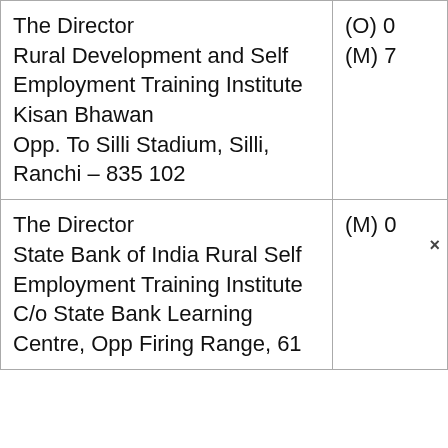| The Director
Rural Development and Self Employment Training Institute
Kisan Bhawan
Opp. To Silli Stadium, Silli,
Ranchi – 835 102 | (O) 0
(M) 7 |
| The Director
State Bank of India Rural Self Employment Training Institute
C/o State Bank Learning
Centre, Opp Firing Range, 61 | (M) 0 |